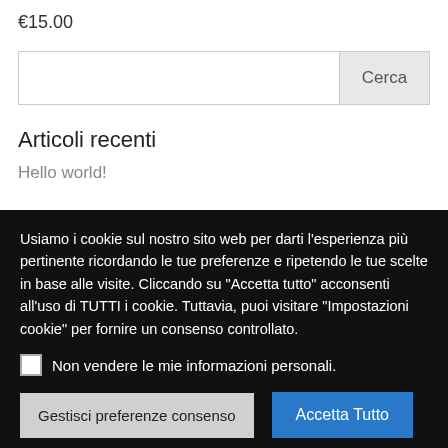€15.00
[Figure (screenshot): Search bar with text input and 'Cerca' button]
Articoli recenti
Hello world!
Usiamo i cookie sul nostro sito web per darti l'esperienza più pertinente ricordando le tue preferenze e ripetendo le tue scelte in base alle visite. Cliccando su "Accetta tutto" acconsenti all'uso di TUTTI i cookie. Tuttavia, puoi visitare "Impostazioni cookie" per fornire un consenso controllato.
Non vendere le mie informazioni personali.
Gestisci preferenze consenso
Accetta Tutto
Rifiuta Tutto
Informativa sui Cookie